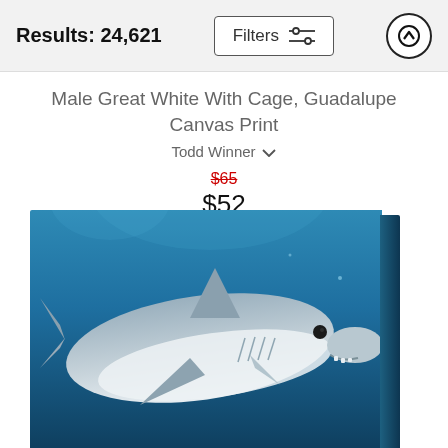Results: 24,621
Filters
Male Great White With Cage, Guadalupe Canvas Print
Todd Winner
$65 (original price, strikethrough) $52 (sale price)
[Figure (photo): Canvas print of a male great white shark swimming underwater in blue water, shown as a wrapped canvas product with a visible side edge, angled slightly.]